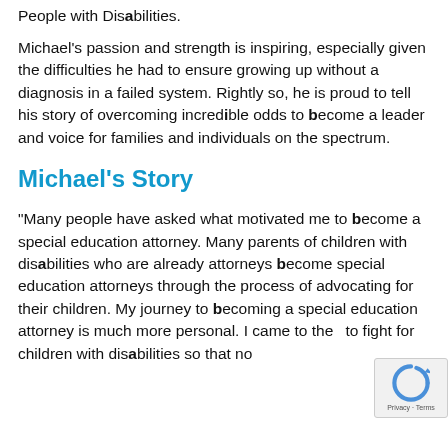People with Disabilities.
Michael's passion and strength is inspiring, especially given the difficulties he had to ensure growing up without a diagnosis in a failed system. Rightly so, he is proud to tell his story of overcoming incredible odds to become a leader and voice for families and individuals on the spectrum.
Michael's Story
“Many people have asked what motivated me to become a special education attorney. Many parents of children with disabilities who are already attorneys become special education attorneys through the process of advocating for their children. My journey to becoming a special education attorney is much more personal. I came to the to fight for children with disabilities so that no child